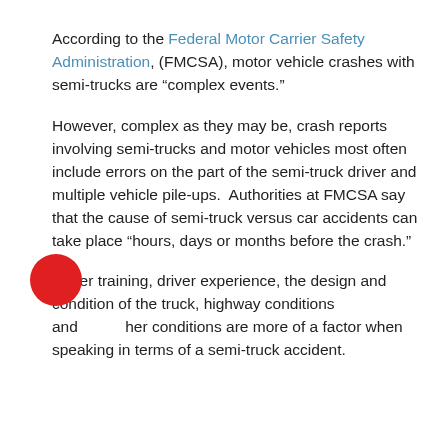According to the Federal Motor Carrier Safety Administration,  (FMCSA), motor vehicle crashes with semi-trucks are “complex events.”
However, complex as they may be, crash reports involving semi-trucks and motor vehicles most often include errors on the part of the semi-truck driver and multiple vehicle pile-ups.  Authorities at FMCSA say that the cause of semi-truck versus car accidents can take place “hours, days or months before the crash.”
Driver training, driver experience, the design and condition of the truck, highway conditions and other conditions are more of a factor when speaking in terms of a semi-truck accident.